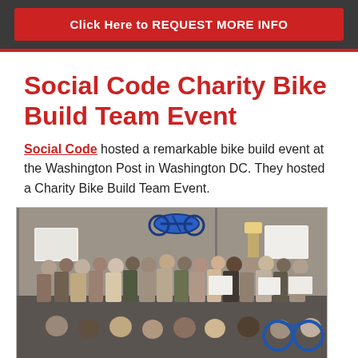Click Here to REQUEST MORE INFO
Social Code Charity Bike Build Team Event
Social Code hosted a remarkable bike build event at the Washington Post in Washington DC. They hosted a Charity Bike Build Team Event.
[Figure (photo): Group photo of many people gathered indoors at a charity bike build event. One person is holding a bicycle overhead. Several people hold signs and papers. The group is large, spanning the full width of the room.]